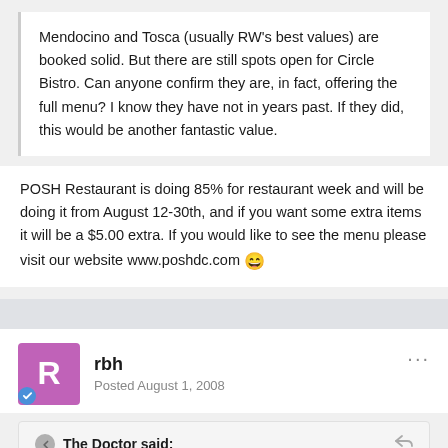Mendocino and Tosca (usually RW's best values) are booked solid. But there are still spots open for Circle Bistro. Can anyone confirm they are, in fact, offering the full menu? I know they have not in years past. If they did, this would be another fantastic value.
POSH Restaurant is doing 85% for restaurant week and will be doing it from August 12-30th, and if you want some extra items it will be a $5.00 extra. If you would like to see the menu please visit our website www.poshdc.com 😄
rbh
Posted August 1, 2008
The Doctor said:
Saw this on the Washingtonian's website (http://www.washingtonian.com/blogarticles/restaurants/b